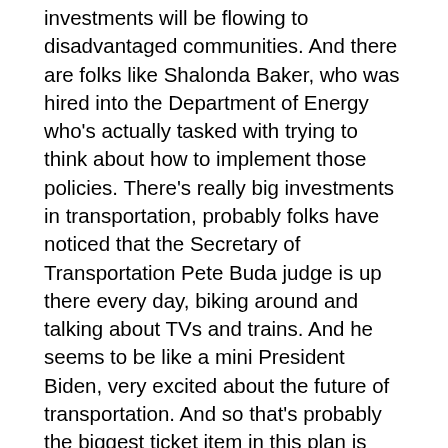investments will be flowing to disadvantaged communities. And there are folks like Shalonda Baker, who was hired into the Department of Energy who's actually tasked with trying to think about how to implement those policies. There's really big investments in transportation, probably folks have noticed that the Secretary of Transportation Pete Buda judge is up there every day, biking around and talking about TVs and trains. And he seems to be like a mini President Biden, very excited about the future of transportation. And so that's probably the biggest ticket item in this plan is investments in the transportation sector. There are potential huge investments in building electrification. And what I'd really like to see in that area is rebates. So that
Every consumer No matter how much money they make, or how much tax liability they have, can electrify their homes because we know we can deliver really important public health benefits,